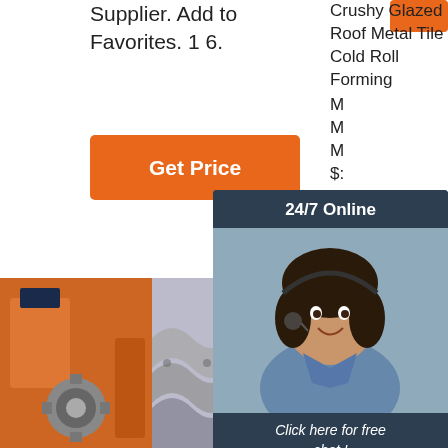Supplier. Add to Favorites. 1 6.
[Figure (screenshot): Orange button (partially visible)]
Get Price
Crushy Glazed Roof Metal Tile Cold Roll Forming M... M... M... $:
[Figure (photo): Chat popup with agent photo, 24/7 Online header, 'Click here for free chat!' text, and QUOTATION button]
[Figure (photo): Photo of industrial roll forming machinery with orange and metal components]
[Figure (photo): Photo of metal roof tiles on a conveyor or surface]
[Figure (photo): Photo of a factory interior with blue machinery and TOP logo overlay]